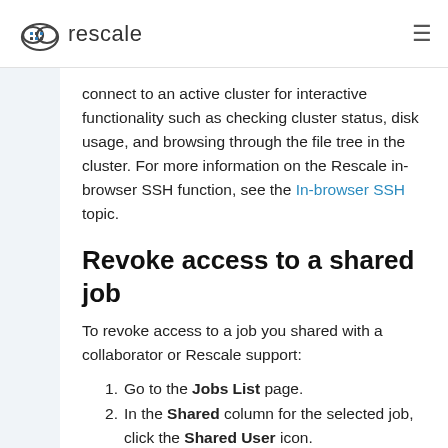rescale
connect to an active cluster for interactive functionality such as checking cluster status, disk usage, and browsing through the file tree in the cluster. For more information on the Rescale in-browser SSH function, see the In-browser SSH topic.
Revoke access to a shared job
To revoke access to a job you shared with a collaborator or Rescale support:
Go to the Jobs List page.
In the Shared column for the selected job, click the Shared User icon.